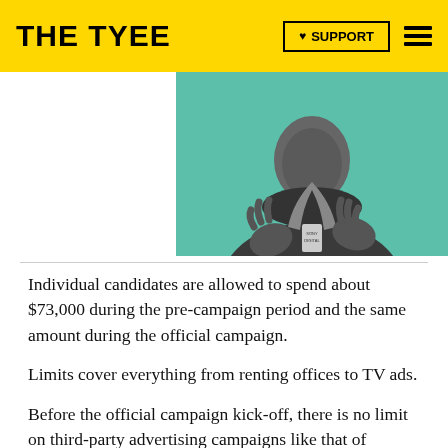THE TYEE
[Figure (photo): Black and white photo of a person wearing a turtleneck and lanyard with 'SONY DIGITAL' text, gesturing with hands, against a teal/green background]
Individual candidates are allowed to spend about $73,000 during the pre-campaign period and the same amount during the official campaign.
Limits cover everything from renting offices to TV ads.
Before the official campaign kick-off, there is no limit on third-party advertising campaigns like that of Concerned Citizens for B.C. or the B.C. Teachers'